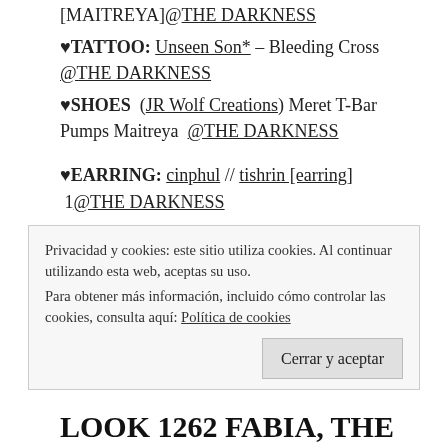[MAITREYA]@THE DARKNESS
♥TATTOO: Unseen Son* – Bleeding Cross @THE DARKNESS
♥SHOES  (JR Wolf Creations) Meret T-Bar Pumps Maitreya  @THE DARKNESS
♥EARRING: cinphul // tishrin [earring]  1@THE DARKNESS
http://feeds.feedburner.com/com/tkDL
Privacidad y cookies: este sitio utiliza cookies. Al continuar utilizando esta web, aceptas su uso.
Para obtener más información, incluido cómo controlar las cookies, consulta aquí: Política de cookies
Cerrar y aceptar
LOOK 1262 FABIA, THE